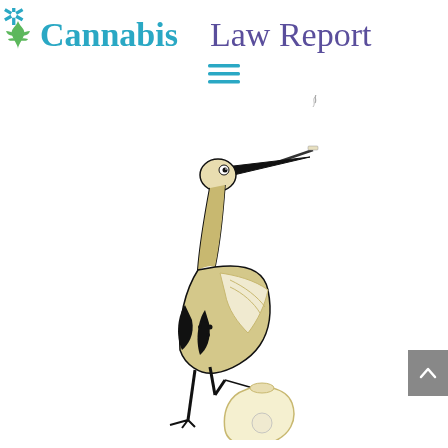[Figure (logo): Cannabis Law Report logo with teal cannabis leaf icon, 'Cannabis' in teal bold serif font, 'Law Report' in purple serif font]
[Figure (illustration): A stork bird illustrated in black and gold/olive tones, holding a bundle/bundle bag in its claw and smoking a cigarette from its beak. The stork stands on one leg. The illustration is in a vintage graphic art style with black and golden-olive fill colors.]